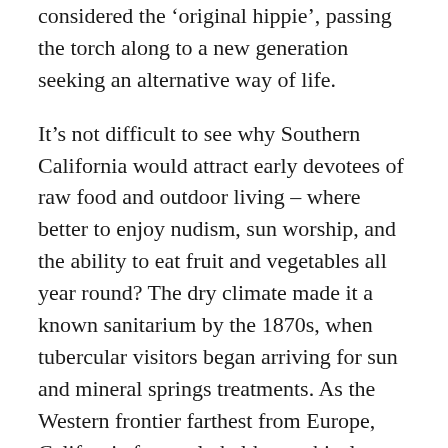considered the 'original hippie', passing the torch along to a new generation seeking an alternative way of life.
It's not difficult to see why Southern California would attract early devotees of raw food and outdoor living – where better to enjoy nudism, sun worship, and the ability to eat fruit and vegetables all year round? The dry climate made it a known sanitarium by the 1870s, when tubercular visitors began arriving for sun and mineral springs treatments. As the Western frontier farthest from Europe, California famously held a mythical status for people wanting to escape the ossified traditions of their ancestors and start anew.
But why and how had the alternative lifestyles of the